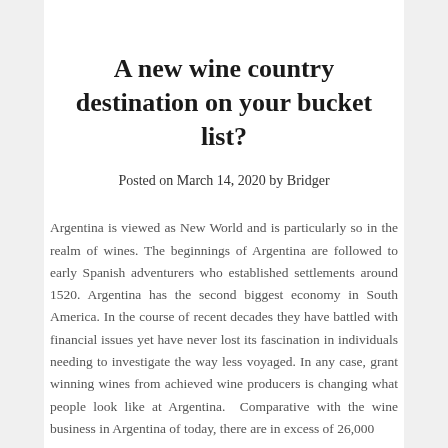A new wine country destination on your bucket list?
Posted on March 14, 2020 by Bridger
Argentina is viewed as New World and is particularly so in the realm of wines. The beginnings of Argentina are followed to early Spanish adventurers who established settlements around 1520. Argentina has the second biggest economy in South America. In the course of recent decades they have battled with financial issues yet have never lost its fascination in individuals needing to investigate the way less voyaged. In any case, grant winning wines from achieved wine producers is changing what people look like at Argentina. Comparative with the wine business in Argentina of today, there are in excess of 26,000 enlisted vineyards. Of the fortune that...